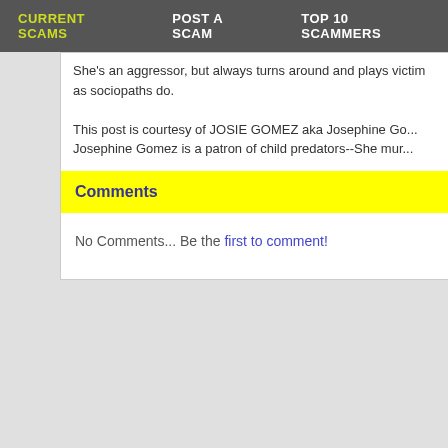CURRENT SCAMS | POST A SCAM | TOP 10 SCAMMERS
She's an aggressor, but always turns around and plays victim as sociopaths do.
This post is courtesy of JOSIE GOMEZ aka Josephine Gomez... Josephine Gomez is a patron of child predators--She mur...
Comments
No Comments... Be the first to comment!
Post A Scam | Current Scams | Top 10 Scammers | FAQ Legal